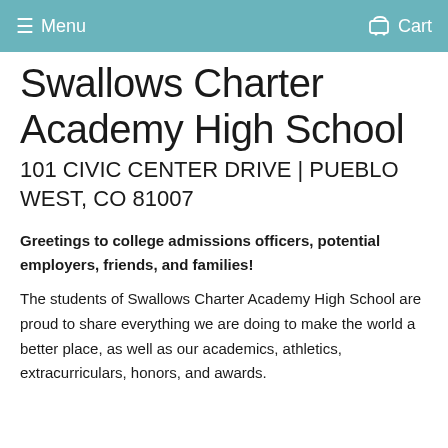≡ Menu  🛒 Cart
Swallows Charter Academy High School
101 CIVIC CENTER DRIVE | PUEBLO WEST, CO 81007
Greetings to college admissions officers, potential employers, friends, and families!
The students of Swallows Charter Academy High School are proud to share everything we are doing to make the world a better place, as well as our academics, athletics, extracurriculars, honors, and awards.